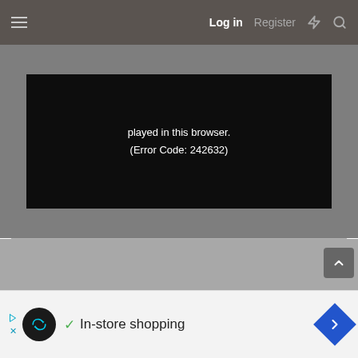Log in  Register
[Figure (screenshot): Video player showing error message: played in this browser. (Error Code: 242632) on black background within a gray video container area.]
played in this browser.
(Error Code: 242632)
[Figure (screenshot): Advertisement bar at bottom showing an infinity-loop logo, a checkmark, and the text 'In-store shopping' with a blue diamond navigation arrow icon on the right.]
In-store shopping